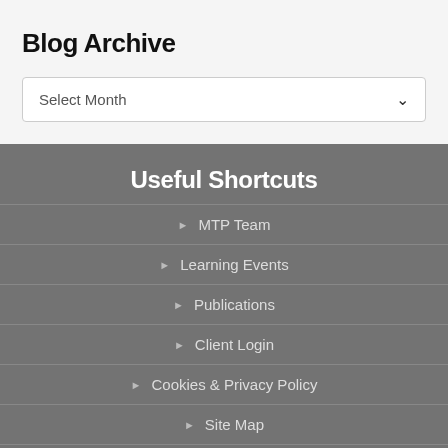Blog Archive
Select Month
Useful Shortcuts
MTP Team
Learning Events
Publications
Client Login
Cookies & Privacy Policy
Site Map
Client Login